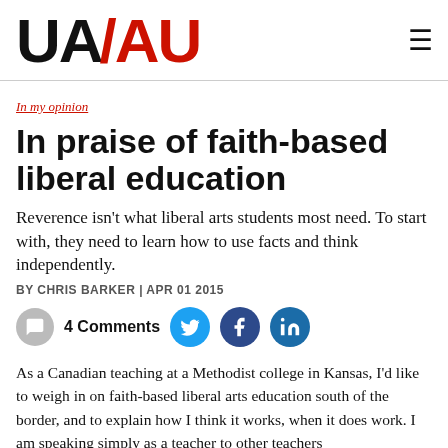UA/AU
In my opinion
In praise of faith-based liberal education
Reverence isn't what liberal arts students most need. To start with, they need to learn how to use facts and think independently.
BY CHRIS BARKER | APR 01 2015
4 Comments
As a Canadian teaching at a Methodist college in Kansas, I'd like to weigh in on faith-based liberal arts education south of the border, and to explain how I think it works, when it does work. I am speaking simply as a teacher to other teachers